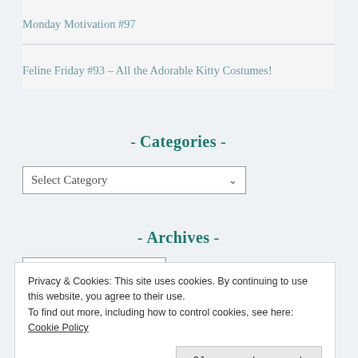Monday Motivation #97
Feline Friday #93 – All the Adorable Kitty Costumes!
- Categories -
Select Category
- Archives -
Select Month
Privacy & Cookies: This site uses cookies. By continuing to use this website, you agree to their use.
To find out more, including how to control cookies, see here: Cookie Policy
Close and accept
...